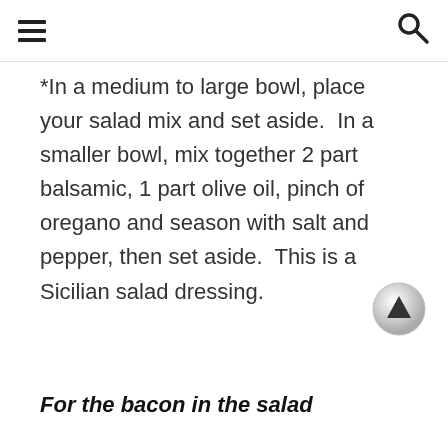☰  🔍
*In a medium to large bowl, place your salad mix and set aside.  In a smaller bowl, mix together 2 part balsamic, 1 part olive oil, pinch of oregano and season with salt and pepper, then set aside.  This is a Sicilian salad dressing.
For the bacon in the salad